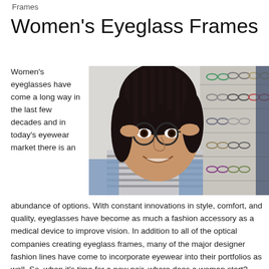Frames
Women's Eyeglass Frames
Women's eyeglasses have come a long way in the last few decades and in today's eyewear market there is an abundance of options. With constant innovations in style, comfort, and quality, eyeglasses have become as much a fashion accessory as a medical device to improve vision. In addition to all of the optical companies creating eyeglass frames, many of the major designer fashion lines have come to incorporate eyewear into their portfolios as well. So, when it's time for a new pair, where does a woman start?
[Figure (photo): A smiling woman trying on round eyeglass frames in an optical store, with rows of eyeglasses on display in the background.]